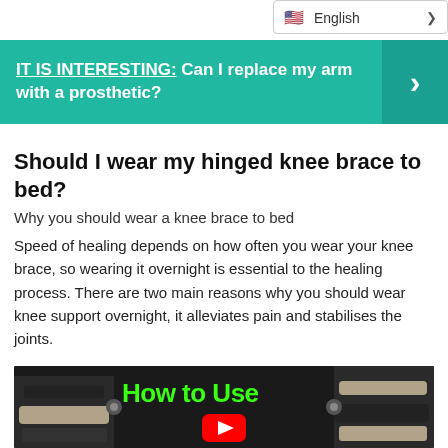English
IT IS INTERESTING: Can I replace my arm with a prosthetic?
Should I wear my hinged knee brace to bed?
Why you should wear a knee brace to bed
Speed of healing depends on how often you wear your knee brace, so wearing it overnight is essential to the healing process. There are two main reasons why you should wear knee support overnight, it alleviates pain and stabilises the joints.
[Figure (screenshot): Video thumbnail showing a knee brace with 'How to Use' text in green and a YouTube play button]